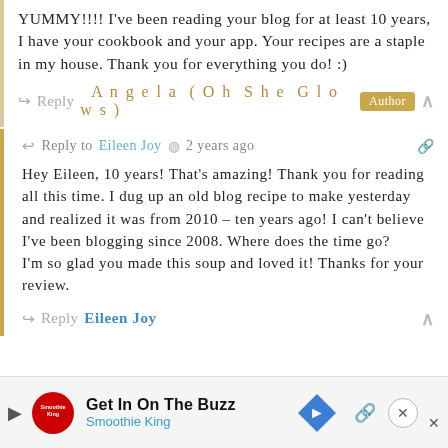YUMMY!!!! I've been reading your blog for at least 10 years, I have your cookbook and your app. Your recipes are a staple in my house. Thank you for everything you do! :)
↳ Reply   Angela (Oh She Glows) [Author]
↩ Reply to Eileen Joy  🕐 2 years ago  🔗
Hey Eileen, 10 years! That's amazing! Thank you for reading all this time. I dug up an old blog recipe to make yesterday and realized it was from 2010 – ten years ago! I can't believe I've been blogging since 2008. Where does the time go?
I'm so glad you made this soup and loved it! Thanks for your review.
↳ Reply   Eileen Joy
Get In On The Buzz  Smoothie King